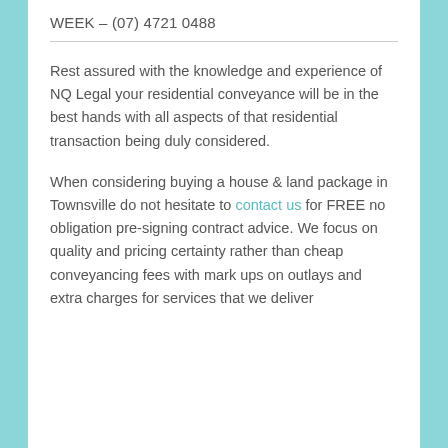WEEK – (07) 4721 0488
Rest assured with the knowledge and experience of NQ Legal your residential conveyance will be in the best hands with all aspects of that residential transaction being duly considered.
When considering buying a house & land package in Townsville do not hesitate to contact us for FREE no obligation pre-signing contract advice. We focus on quality and pricing certainty rather than cheap conveyancing fees with mark ups on outlays and extra charges for services that we deliver